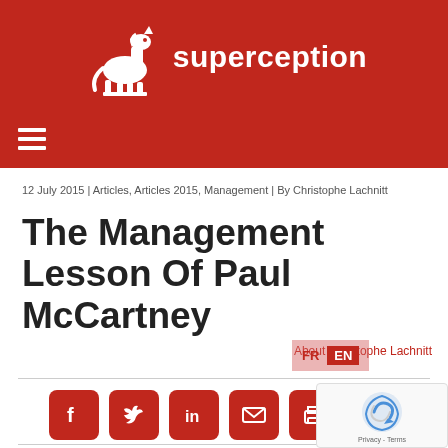[Figure (logo): Superception website header with red background, white horse logo and 'superception' text in white]
12 July 2015 | Articles, Articles 2015, Management | By Christophe Lachnitt
The Management Lesson Of Paul McCartney
[Figure (infographic): Social share buttons: Facebook, Twitter, LinkedIn, Email, Print, More]
The greatest melodist in the history of pop music has given an interview to British magazine Esquire.